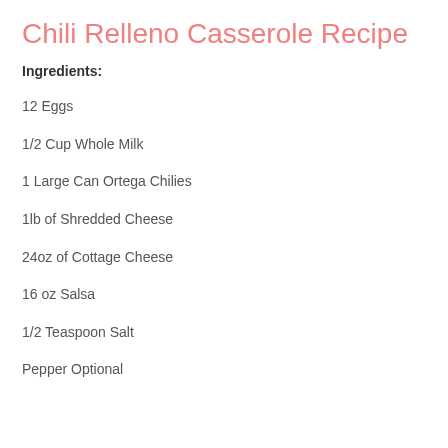Chili Relleno Casserole Recipe
Ingredients:
12 Eggs
1/2 Cup Whole Milk
1 Large Can Ortega Chilies
1lb of Shredded Cheese
24oz of Cottage Cheese
16 oz Salsa
1/2 Teaspoon Salt
Pepper Optional